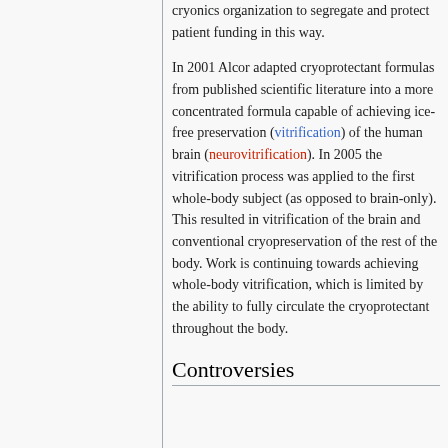cryonics organization to segregate and protect patient funding in this way.
In 2001 Alcor adapted cryoprotectant formulas from published scientific literature into a more concentrated formula capable of achieving ice-free preservation (vitrification) of the human brain (neurovitrification). In 2005 the vitrification process was applied to the first whole-body subject (as opposed to brain-only). This resulted in vitrification of the brain and conventional cryopreservation of the rest of the body. Work is continuing towards achieving whole-body vitrification, which is limited by the ability to fully circulate the cryoprotectant throughout the body.
Controversies